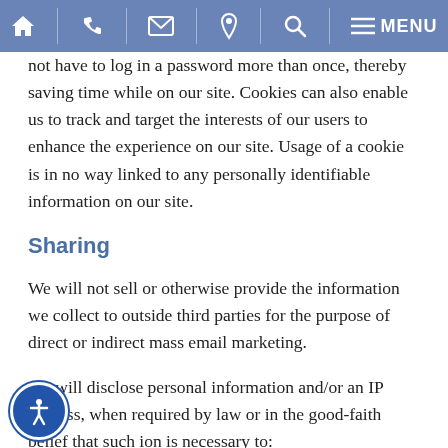Navigation bar with home, phone, email, location, search, and menu icons
not have to log in a password more than once, thereby saving time while on our site. Cookies can also enable us to track and target the interests of our users to enhance the experience on our site. Usage of a cookie is in no way linked to any personally identifiable information on our site.
Sharing
We will not sell or otherwise provide the information we collect to outside third parties for the purpose of direct or indirect mass email marketing.
We will disclose personal information and/or an IP address, when required by law or in the good-faith belief that such ion is necessary to: